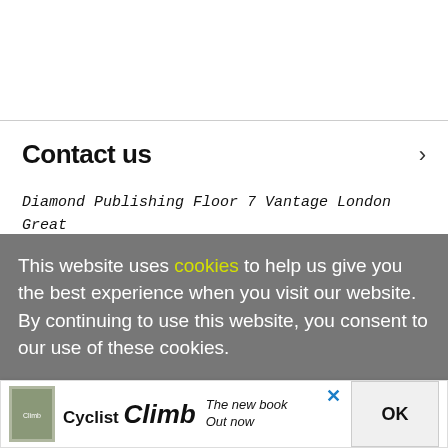Contact us
Diamond Publishing Floor 7 Vantage London Great West Road Brentford TW8 9AG
Tel: 020 8752 8195
hello@metropolis.co.uk
This website uses cookies to help us give you the best experience when you visit our website. By continuing to use this website, you consent to our use of these cookies.
[Figure (other): Advertisement banner for Cyclist Climb book with book cover image, brand name, and tagline 'The new book Out now']